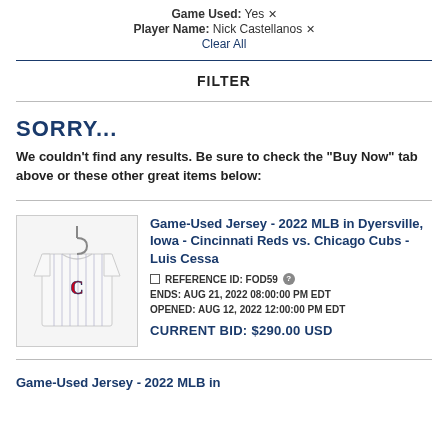Game Used: Yes ✕
Player Name: Nick Castellanos ✕
Clear All
FILTER
SORRY...
We couldn't find any results. Be sure to check the "Buy Now" tab above or these other great items below:
[Figure (photo): Photo of a white pinstripe Cincinnati Reds jersey displayed on a hanger]
Game-Used Jersey - 2022 MLB in Dyersville, Iowa - Cincinnati Reds vs. Chicago Cubs - Luis Cessa
REFERENCE ID: FOD59 ?
ENDS: AUG 21, 2022 08:00:00 PM EDT
OPENED: AUG 12, 2022 12:00:00 PM EDT
CURRENT BID: $290.00 USD
Game-Used Jersey - 2022 MLB in